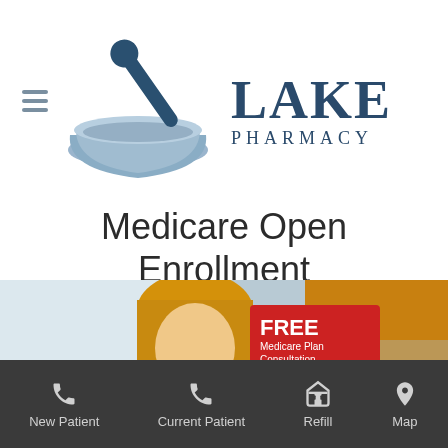[Figure (logo): Lake Pharmacy logo: mortar and pestle icon in blue/steel blue colors with text LAKE PHARMACY]
Medicare Open Enrollment
[Figure (photo): Photo of two women (pharmacy staff and patient) talking, with a red sign reading FREE Medicare Plan Consultation in the background]
New Patient | Current Patient | Refill | Map